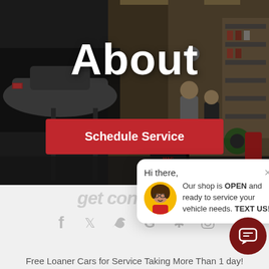[Figure (photo): Auto repair shop interior with car on lift, mechanics working, tools and equipment visible in background]
About
Schedule Service
[Figure (infographic): Chat popup overlay with avatar photo of woman in glasses and red shirt. Text reads: Hi there, Our shop is OPEN and ready to service your vehicle needs. TEXT US!]
get connected
[Figure (infographic): Social media icons row: Facebook, Twitter, Google, Yelp, Instagram]
Free Loaner Cars for Service Taking More Than 1 day!